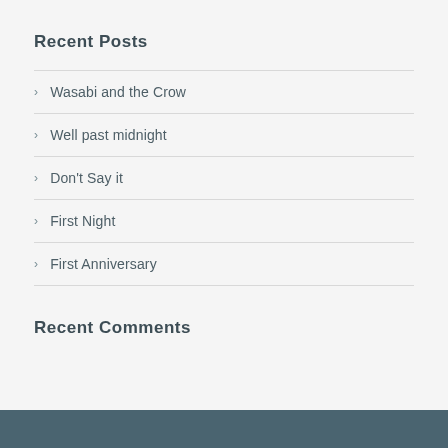Recent Posts
Wasabi and the Crow
Well past midnight
Don't Say it
First Night
First Anniversary
Recent Comments